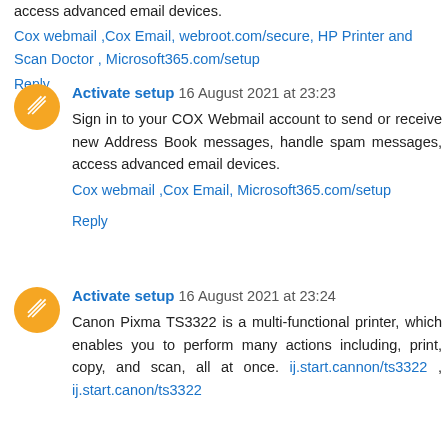access advanced email devices.
Cox webmail ,Cox Email, webroot.com/secure, HP Printer and Scan Doctor , Microsoft365.com/setup
Reply
Activate setup 16 August 2021 at 23:23
Sign in to your COX Webmail account to send or receive new Address Book messages, handle spam messages, access advanced email devices.
Cox webmail ,Cox Email, Microsoft365.com/setup
Reply
Activate setup 16 August 2021 at 23:24
Canon Pixma TS3322 is a multi-functional printer, which enables you to perform many actions including, print, copy, and scan, all at once. ij.start.cannon/ts3322 , ij.start.canon/ts3322